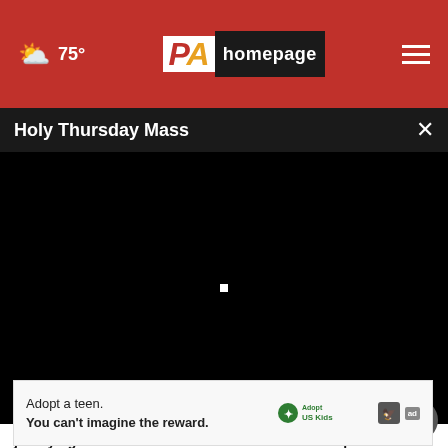75° PA homepage
Holy Thursday Mass
[Figure (screenshot): Black video player area with a small white loading indicator in the center]
justifying the FBI's raid on former President Trump's home?
[Figure (other): Advertisement banner: Adopt a teen. You can't imagine the reward. AdoptUSKids logo with HHS and ad badge icons.]